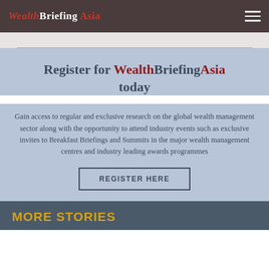WealthBriefingAsia
Register for WealthBriefingAsia today
Gain access to regular and exclusive research on the global wealth management sector along with the opportunity to attend industry events such as exclusive invites to Breakfast Briefings and Summits in the major wealth management centres and industry leading awards programmes
REGISTER HERE
MORE STORIES